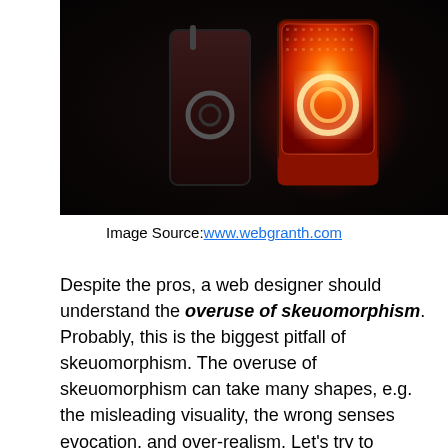[Figure (photo): Two rocker toggle switches on a dark background. Left switch is off (dark, unlit) with a circular indicator. Right switch is on (glowing red/orange) with an illuminated circular indicator.]
Image Source:www.webgranth.com
Despite the pros, a web designer should understand the overuse of skeuomorphism. Probably, this is the biggest pitfall of skeuomorphism. The overuse of skeuomorphism can take many shapes, e.g. the misleading visuality, the wrong senses evocation, and over-realism. Let's try to exemplify the cons mentioned